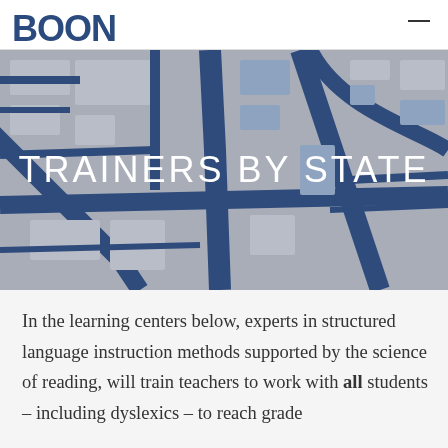BOON
[Figure (illustration): Stylized map illustration showing city street grid with roads, blocks and intersections rendered in blue and grey tones, serving as a decorative hero background image]
TRAINERS BY STATE
In the learning centers below, experts in structured language instruction methods supported by the science of reading, will train teachers to work with all students – including dyslexics – to reach grade